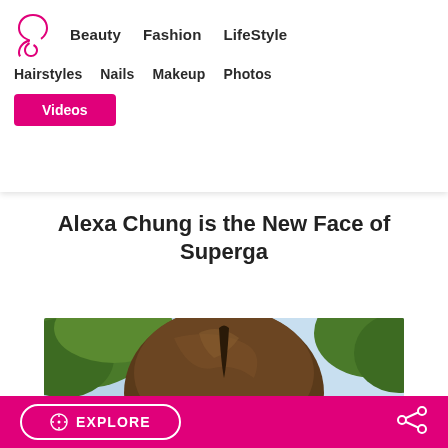Beauty  Fashion  LifeStyle  Hairstyles  Nails  Makeup  Photos  Videos
Alexa Chung is the New Face of Superga
[Figure (photo): Close-up photo of a woman with brown hair, blurred green foliage and sky in background]
EXPLORE  [share icon]